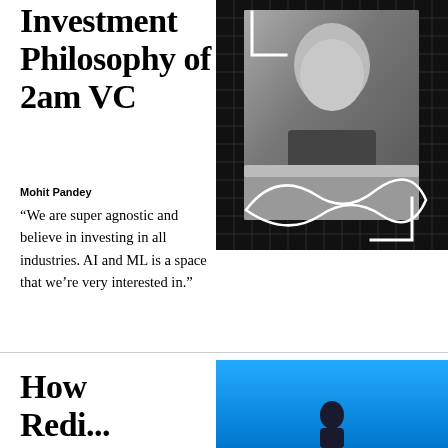Investment Philosophy of 2am VC
Mohit Pandey
“We are super agnostic and believe in investing in all industries. AI and ML is a space that we’re very interested in.”
[Figure (photo): Black and white photo of Mohit Pandey sitting and smiling, with a grid overlay and geometric bracket/infinity line design in white]
How Redi...